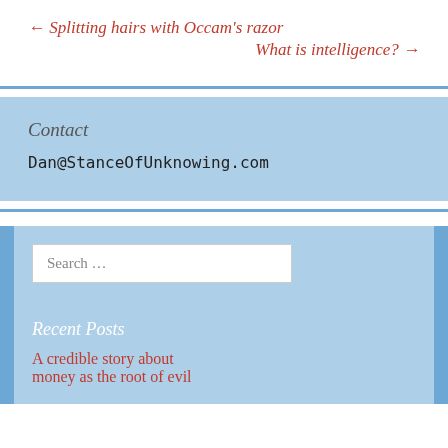← Splitting hairs with Occam's razor
What is intelligence? →
Contact
Dan@StanceOfUnknowing.com
Search …
Recent Posts
A credible story about money as the root of evil